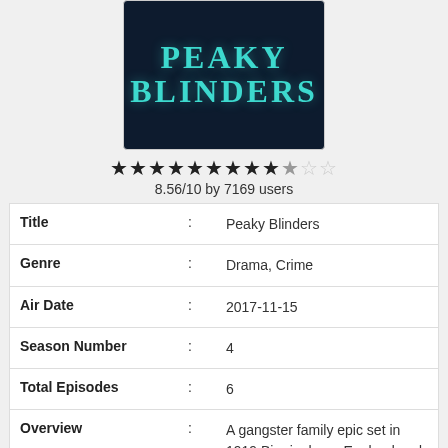[Figure (photo): Peaky Blinders TV show poster with teal/cyan text on dark navy background]
8.56/10 by 7169 users
| Title | : | Peaky Blinders |
| Genre | : | Drama, Crime |
| Air Date | : | 2017-11-15 |
| Season Number | : | 4 |
| Total Episodes | : | 6 |
| Overview | : | A gangster family epic set in 1919 Birmingham, England and centered on a gang who sew razor blades in the peaks of their caps, and their fierce boss Tommy Shelby, who |